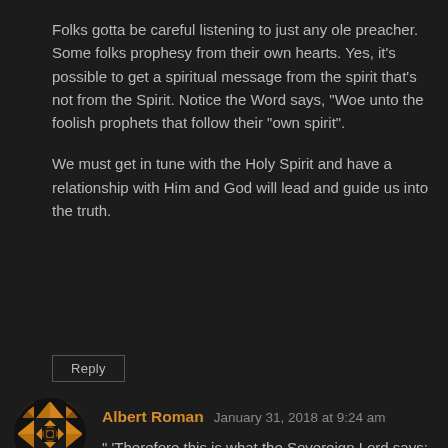Folks gotta be careful listening to just any ole preacher. Some folks prophesy from their own hearts. Yes, it’s possible to get a spiritual message from the spirit that’s not from the Spirit. Notice the Word says, “Woe unto the foolish prophets that follow their “own spirit”.
We must get in tune with the Holy Spirit and have a relationship with Him and God will lead and guide us into the truth.
Reply
[Figure (illustration): Circular avatar with orange/gold geometric quilt-like pattern on dark background]
Albert Roman   January 31, 2018 at 9:24 am
“ ‘Therefore this is what the Sovereign Lord says: Because of your false words and lying visions, I am against you, declares the Sovereign Lord . My hand will be against the prophets who see false visions